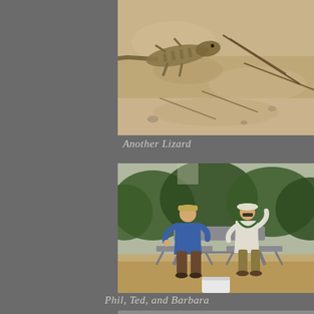[Figure (photo): A lizard on sandy ground with dried twigs and dirt, viewed from above.]
Another Lizard
[Figure (photo): Two older men sitting at an outdoor picnic table in a dusty area with green shrubs in the background. One wears a blue shirt and tan cap, the other wears a white shirt, hat and sunglasses. A white cooler is visible at the bottom.]
Phil, Ted, and Barbara